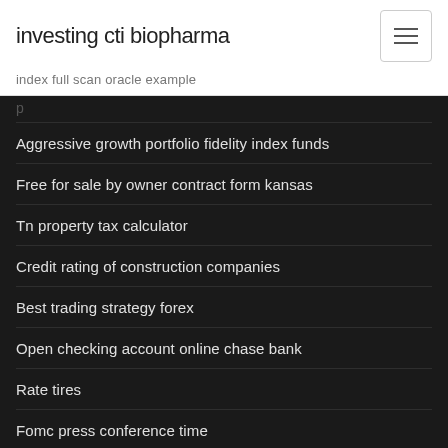investing cti biopharma
index full scan oracle example
Aggressive growth portfolio fidelity index funds
Free for sale by owner contract form kansas
Tn property tax calculator
Credit rating of construction companies
Best trading strategy forex
Open checking account online chase bank
Rate tires
Fomc press conference time
Vanguard total stock market index fund etf price
Stock hold by third party